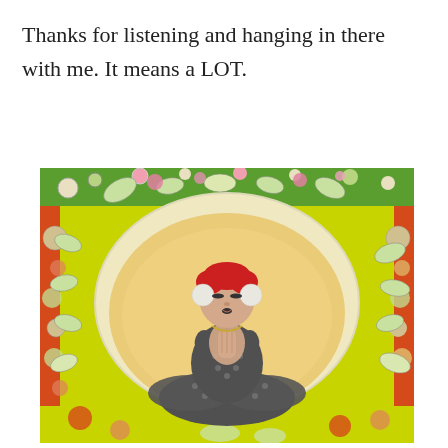Thanks for listening and hanging in there with me. It means a LOT.
[Figure (illustration): Colorful folk-art style painting of a woman in a yoga meditation pose (lotus position, hands in prayer/namaste), wearing a patterned outfit, with red hair, centered on a golden/amber glowing oval background, framed by an ornate border of bright green, yellow, red, and pink swirling patterns with leaves, flowers, and decorative elements.]